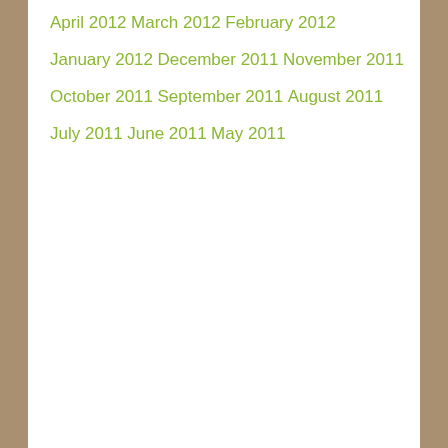April 2012
March 2012
February 2012
January 2012
December 2011
November 2011
October 2011
September 2011
August 2011
July 2011
June 2011
May 2011